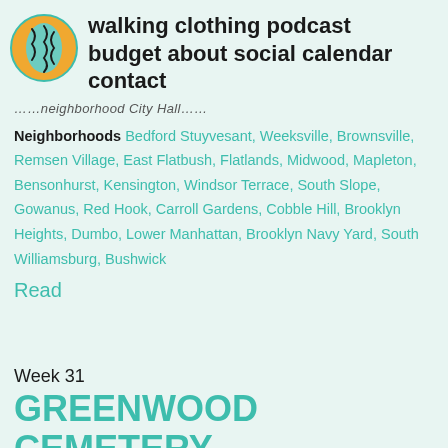walking clothing podcast budget about social calendar contact
…neighborhood City Hall…
Neighborhoods Bedford Stuyvesant, Weeksville, Brownsville, Remsen Village, East Flatbush, Flatlands, Midwood, Mapleton, Bensonhurst, Kensington, Windsor Terrace, South Slope, Gowanus, Red Hook, Carroll Gardens, Cobble Hill, Brooklyn Heights, Dumbo, Lower Manhattan, Brooklyn Navy Yard, South Williamsburg, Bushwick
Read
Week 31
GREENWOOD CEMETERY